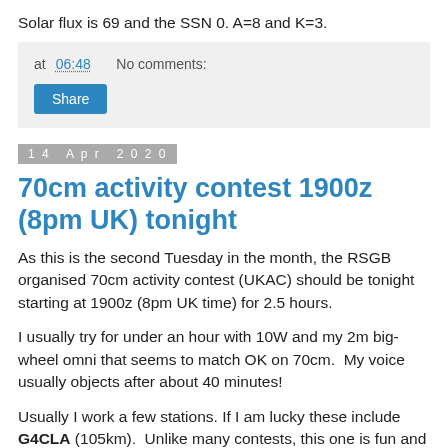Solar flux is 69 and the SSN 0. A=8 and K=3.
at 06:48   No comments:
14 Apr 2020
70cm activity contest 1900z (8pm UK) tonight
As this is the second Tuesday in the month, the RSGB organised 70cm activity contest (UKAC) should be tonight starting at 1900z (8pm UK time) for 2.5 hours.
I usually try for under an hour with 10W and my 2m big-wheel omni that seems to match OK on 70cm.  My voice usually objects after about 40 minutes!
Usually I work a few stations. If I am lucky these include G4CLA (105km).  Unlike many contests, this one is fun and